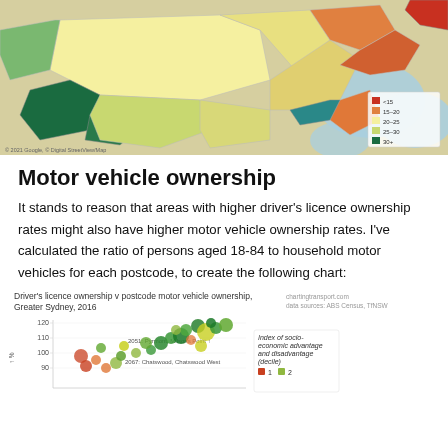[Figure (map): Choropleth map of Greater Sydney showing driver licence ownership rates by postcode, with a colour legend ranging from light yellow (low) to dark green (high) and orange/red tones. Water areas shown in blue.]
Motor vehicle ownership
It stands to reason that areas with higher driver's licence ownership rates might also have higher motor vehicle ownership rates. I've calculated the ratio of persons aged 18-84 to household motor vehicles for each postcode, to create the following chart:
[Figure (scatter-plot): Bubble/scatter chart showing driver licence ownership rate (y-axis, 80-120) versus postcode motor vehicle ownership for Greater Sydney 2016. Bubbles coloured by index of socio-economic advantage and disadvantage (decile): 1=red/orange, 2=yellow-green, higher deciles=green. Notable labels: 2051 Pyrmont, Milsons Point; 2067 Chatswood, Chatswood West.]